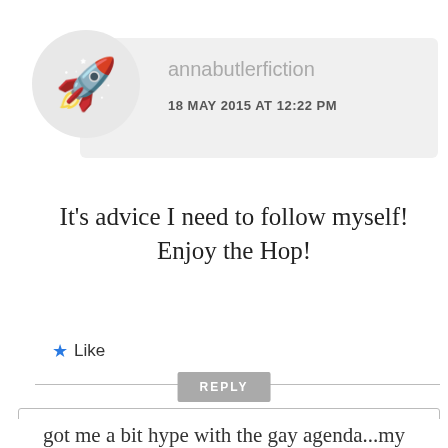[Figure (illustration): User avatar circle with rocket emoji icon]
annabutlerfiction
18 MAY 2015 AT 12:22 PM
It’s advice I need to follow myself! Enjoy the Hop!
★ Like
REPLY
Privacy & Cookies: This site uses cookies. By continuing to use this website, you agree to their use.
To find out more, including how to control cookies, see here: Cookie Policy
Close and accept
got me a bit hype with the gay agenda...my